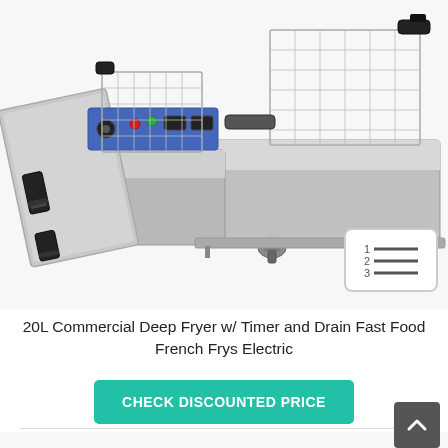[Figure (photo): A commercial stainless steel double-tank electric deep fryer with wire baskets, drain valves, black handles, and a blue control panel with knobs and buttons. Shown in a product listing photo on a light gray background.]
20L Commercial Deep Fryer w/ Timer and Drain Fast Food French Frys Electric
CHECK DISCOUNTED PRICE